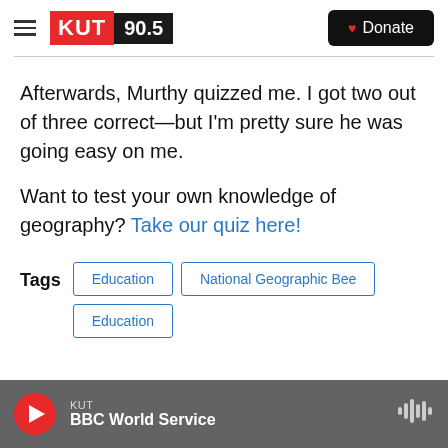KUT 90.5 | Donate
Afterwards, Murthy quizzed me. I got two out of three correct—but I'm pretty sure he was going easy on me.
Want to test your own knowledge of geography? Take our quiz here!
Tags  Education  National Geographic Bee  Education
KUT  BBC World Service